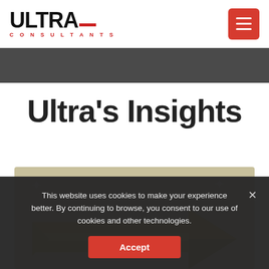[Figure (logo): Ultra Consultants logo with bold black ULTRA text, red dash underline, and red CONSULTANTS text in spaced capitals]
[Figure (other): Red square hamburger/menu button with three white horizontal lines]
[Figure (other): Dark gray horizontal banner below header]
Ultra's Insights
[Figure (illustration): Partial view of a gold/yellow arrow graphic on a tan/khaki background with white star decorations, part of a promotional image]
This website uses cookies to make your experience better. By continuing to browse, you consent to our use of cookies and other technologies.
Accept